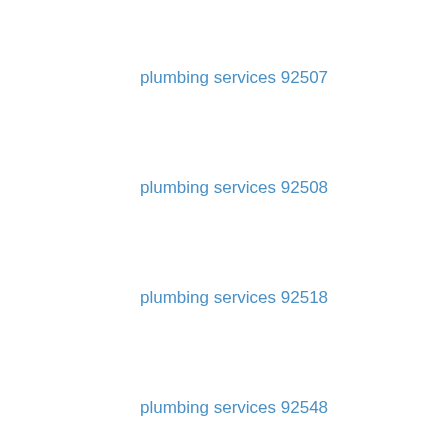plumbing services 92507
plumbing services 92508
plumbing services 92518
plumbing services 92548
plumbing services 92549
plumbing services 92551
plumbing services 92552
plumbing services 92553
plumbing services 92554
plumbing services 92555